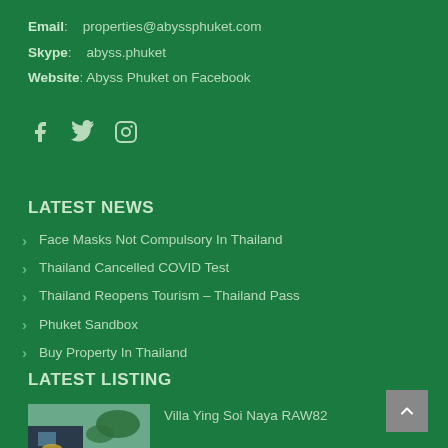Email: properties@abyssphuket.com
Skype: abyss.phuket
Website: Abyss Phuket on Facebook
[Figure (other): Social media icons: Facebook, Twitter, Instagram]
LATEST NEWS
Face Masks Not Compulsory In Thailand
Thailand Cancelled COVID Test
Thailand Reopens Tourism – Thailand Pass
Phuket Sandbox
Buy Property In Thailand
LATEST LISTING
[Figure (photo): Photo of Villa Ying Soi Naya RAW82 showing a swimming pool and tropical setting]
Villa Ying Soi Naya RAW82